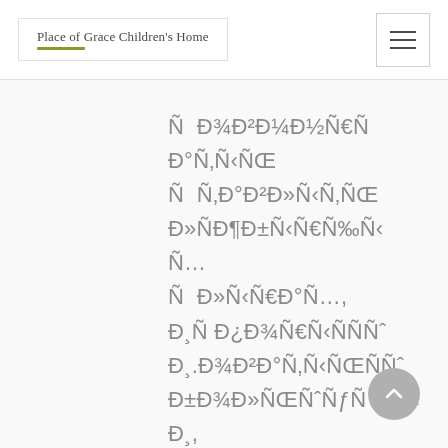Place of Grace Children's Home
Ñ Ð¾Ð²Ðµ Ñ€Ñ‹
Ð°Ñ‚ÐÑŒ
Ñ Ñ‚Ð°Ð²Ð»ÑÑ‚ÑŒ Ð²
Ð»ÑÐ¶Ð±Ñ‹Ñ€Ñ‰Ñ‹
Ñ…
Ñ Ð»Ñ‹Ñ€Ð°Ñ…,
Ð¸Ñ Ð¿Ð¾Ð»ÑŒÑÐµÑ€
Ð¸Ð¾Ð²Ð°Ñ‚ÑŒÑÐµÑ€
Ð±Ð¾Ð»ÑŒÑˆÑƒÑ Ñ‹
Ð¸,
Ð¿Ñ€Ð¸Ð²ÐµÑÑ‹Ñ‚ÑŒÑ
Ð°Ñ‚ÑŒÑÐµÑ€
ÑˆÑÐ‡Ñ€Ñ Ñ‹Ñ‚Ð¾Ñ Ñ‚ÑŒÑÐµÐ